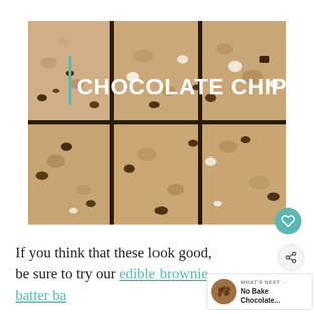[Figure (photo): Close-up photo of chocolate chip bars cut into squares, showing white and dark chocolate chips embedded in a cookie bar base. Text overlay reads 'CHOCOLATE CHIP BARS' in bold white with a teal left border accent.]
If you think that these look good, be sure to try our edible brownie batter ba...
WHAT'S NEXT → No Bake Chocolate...